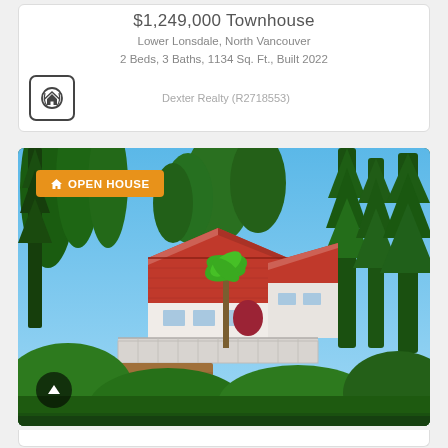$1,249,000 Townhouse
Lower Lonsdale, North Vancouver
2 Beds, 3 Baths, 1134 Sq. Ft., Built 2022
Dexter Realty (R2718553)
[Figure (photo): Aerial photo of a house with red tile roof surrounded by tall evergreen trees, with a deck and green landscaping. An orange 'OPEN HOUSE' badge is overlaid on the top-left of the image.]